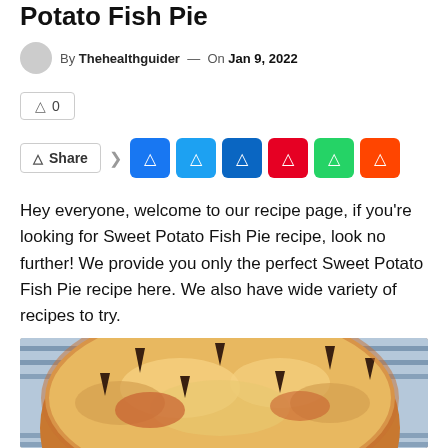Potato Fish Pie
By Thehealthguider — On Jan 9, 2022
0
Share
Hey everyone, welcome to our recipe page, if you're looking for Sweet Potato Fish Pie recipe, look no further! We provide you only the perfect Sweet Potato Fish Pie recipe here. We also have wide variety of recipes to try.
[Figure (photo): Close-up photo of a baked Sweet Potato Fish Pie with dark decorative tips/garnishes sticking out from the golden-brown cheesy top crust, resting on a blue and white striped cloth.]